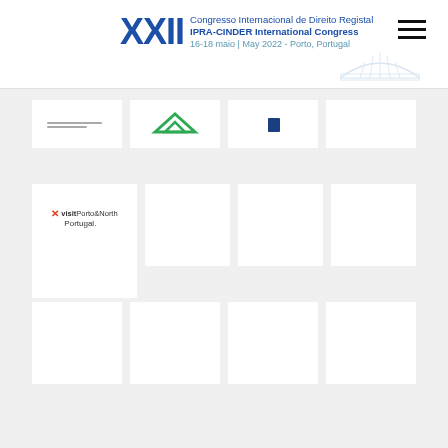XXII Congresso Internacional de Direito Registal IPRA-CINDER International Congress 16-18 maio | May 2022 - Porto, Portugal
[Figure (illustration): Grid of sponsor logo boxes. First partial row has 4 white boxes with partial logos. Second row has 4 white boxes, first one containing Visit Porto&North Portugal logo. Third and fourth rows have 4 empty white boxes each.]